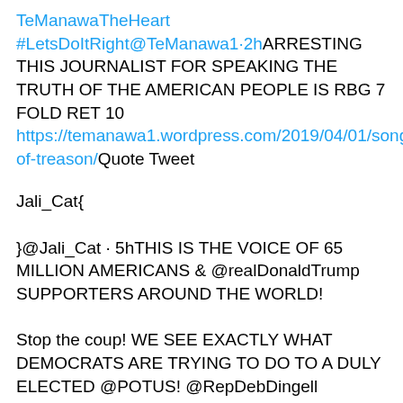TeManawaTheHeart
#LetsDoItRight@TeManawa1·2hARRESTING THIS JOURNALIST FOR SPEAKING THE TRUTH OF THE AMERICAN PEOPLE IS RBG 7 FOLD RET 10
https://temanawa1.wordpress.com/2019/04/01/song-of-treason/Quote Tweet
Jali_Cat{
}@Jali_Cat · 5hTHIS IS THE VOICE OF 65 MILLION AMERICANS & @realDonaldTrump SUPPORTERS AROUND THE WORLD!

Stop the coup! WE SEE EXACTLY WHAT DEMOCRATS ARE TRYING TO DO TO A DULY ELECTED @POTUS! @RepDebDingell @RepJayapal @RepSwalwell